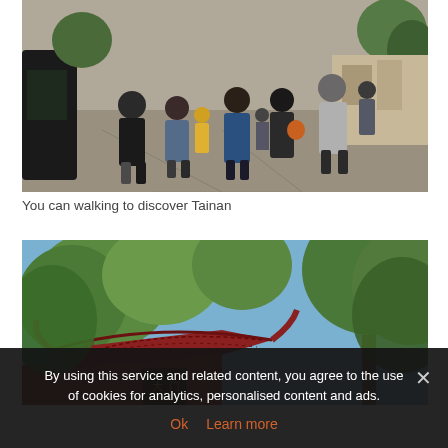[Figure (photo): Busy pedestrian street in Tainan, Taiwan. People walking on a wide stone-paved lane lined with trees, shops, and parked cars. Multiple people visible from behind wearing casual clothing.]
You can walking to discover Tainan
[Figure (photo): Upward view of a traditional Taiwanese temple with curved red-tiled roof and ornate decorations, surrounded by lush green trees against a blue sky.]
By using this service and related content, you agree to the use of cookies for analytics, personalised content and ads.
Ok  Learn more